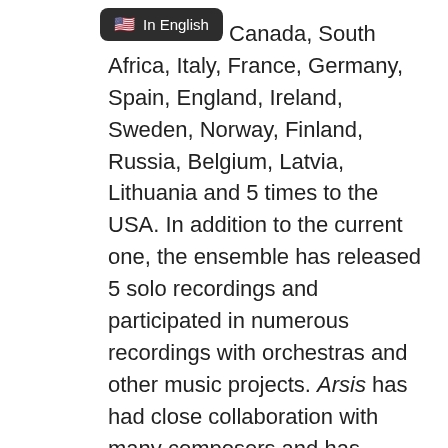[Figure (other): Language badge overlay showing US flag emoji and 'In English' label on dark rounded rectangle]
ken them to Canada, South Africa, Italy, France, Germany, Spain, England, Ireland, Sweden, Norway, Finland, Russia, Belgium, Latvia, Lithuania and 5 times to the USA. In addition to the current one, the ensemble has released 5 solo recordings and participated in numerous recordings with orchestras and other music projects. Arsis has had close collaboration with many composers and has premiered more than 10 new works.

The conductor and Artistic Director of the ensemble is Aivar Mäe who introduced handbell music to Estonia. However, Aivar Mäe's work is not only limited to handbell music, he is one of the most prominent figures in the Estonian